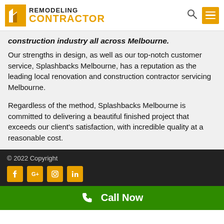REMODELING CONTRACTOR
construction industry all across Melbourne. Our strengths in design, as well as our top-notch customer service, Splashbacks Melbourne, has a reputation as the leading local renovation and construction contractor servicing Melbourne.
Regardless of the method, Splashbacks Melbourne is committed to delivering a beautiful finished project that exceeds our client's satisfaction, with incredible quality at a reasonable cost.
© 2022 Copyright
Call Now